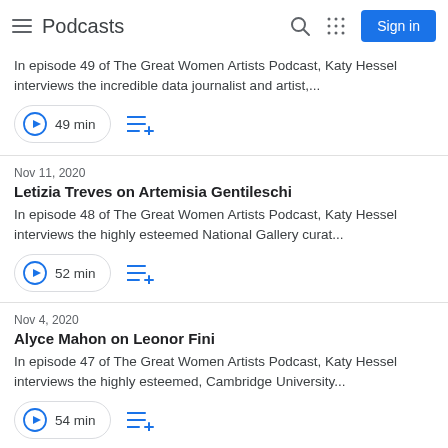Podcasts
In episode 49 of The Great Women Artists Podcast, Katy Hessel interviews the incredible data journalist and artist,...
49 min
Nov 11, 2020
Letizia Treves on Artemisia Gentileschi
In episode 48 of The Great Women Artists Podcast, Katy Hessel interviews the highly esteemed National Gallery curat...
52 min
Nov 4, 2020
Alyce Mahon on Leonor Fini
In episode 47 of The Great Women Artists Podcast, Katy Hessel interviews the highly esteemed, Cambridge University...
54 min